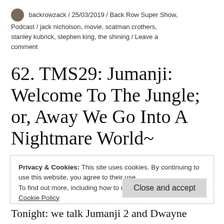backrowzack / 25/03/2019 / Back Row Super Show, Podcast / jack nicholson, movie, scatman crothers, stanley kubrick, stephen king, the shining / Leave a comment
62. TMS29: Jumanji: Welcome To The Jungle; or, Away We Go Into A Nightmare World~
Privacy & Cookies: This site uses cookies. By continuing to use this website, you agree to their use.
To find out more, including how to control cookies, see here: Cookie Policy
[Close and accept button]
Tonight: we talk Jumanji 2 and Dwayne